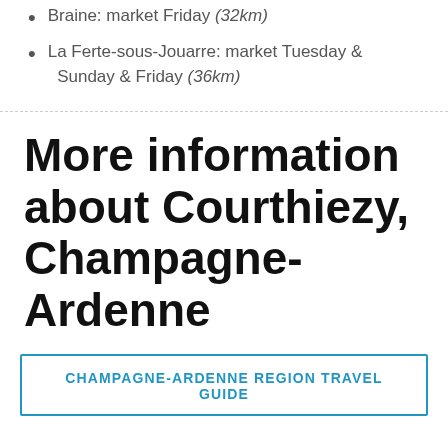Braine: market Friday (32km)
La Ferte-sous-Jouarre: market Tuesday & Sunday & Friday (36km)
More information about Courthiezy, Champagne-Ardenne
CHAMPAGNE-ARDENNE REGION TRAVEL GUIDE